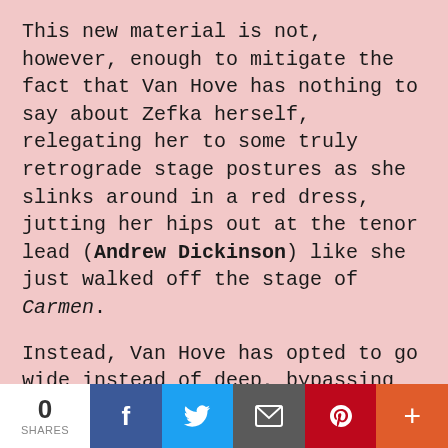This new material is not, however, enough to mitigate the fact that Van Hove has nothing to say about Zefka herself, relegating her to some truly retrograde stage postures as she slinks around in a red dress, jutting her hips out at the tenor lead (Andrew Dickinson) like she just walked off the stage of Carmen.
Instead, Van Hove has opted to go wide instead of deep, bypassing the work's racial politics altogether and bringing in excerpts from Janácek's diaries and letters to create a frame narrative about Janácek himself.
This archival material concerns Kamila Stösslova, a woman nearly 40 years Janácek's junior, to whom he wrote
0 SHARES | Facebook | Twitter | Email | Pinterest | More